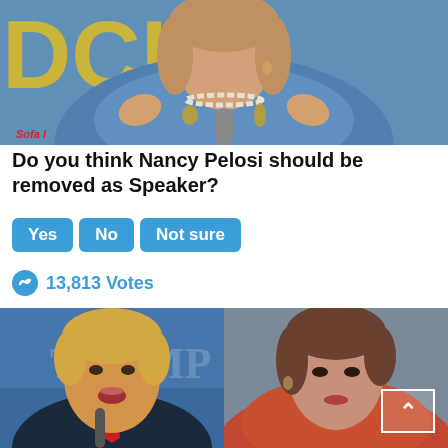[Figure (photo): Photo of Nancy Pelosi in a blue jacket speaking at a podium with a microphone, with yellow letters in the background (DCHS visible). She is gesturing with both hands and wearing a pearl necklace.]
Do you think Nancy Pelosi should be removed as Speaker?
Yes  No  Not sure
13,813 Votes
[Figure (photo): Side-by-side photo: left half shows Donald Trump speaking at a rally with a microphone, wearing a suit with red tie; right half shows Nancy Pelosi in an orange/red jacket looking to the side. A scroll-up arrow icon is visible in the lower right of the right photo.]